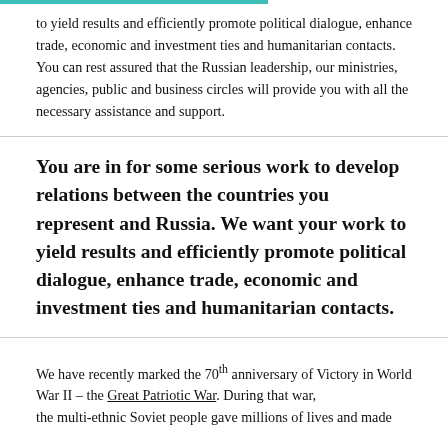to yield results and efficiently promote political dialogue, enhance trade, economic and investment ties and humanitarian contacts. You can rest assured that the Russian leadership, our ministries, agencies, public and business circles will provide you with all the necessary assistance and support.
You are in for some serious work to develop relations between the countries you represent and Russia. We want your work to yield results and efficiently promote political dialogue, enhance trade, economic and investment ties and humanitarian contacts.
We have recently marked the 70th anniversary of Victory in World War II – the Great Patriotic War. During that war, the multi-ethnic Soviet people gave millions of lives and made...